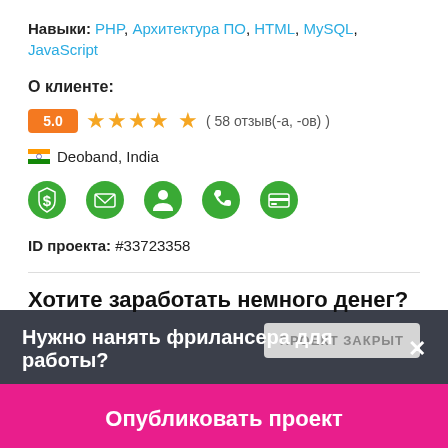Навыки: PHP, Архитектура ПО, HTML, MySQL, JavaScript
О клиенте:
5.0 ★★★★☆ ( 58 отзыв(-а, -ов) )
🇮🇳 Deoband, India
[Figure (infographic): Row of 5 green circular icons: dollar shield, mail, person, phone, credit card]
ID проекта: #33723358
Хотите заработать немного денег?
ПРОЕКТ ЗАКРЫТ
Нужно нанять фрилансера для работы?✕
Опубликовать проект